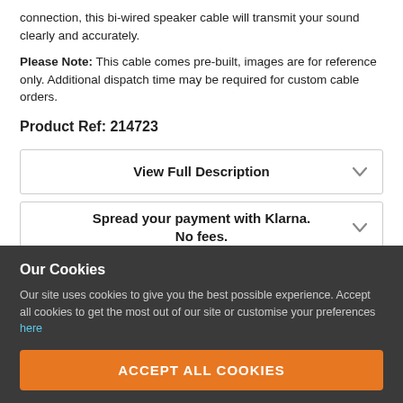connection, this bi-wired speaker cable will transmit your sound clearly and accurately.
Please Note: This cable comes pre-built, images are for reference only. Additional dispatch time may be required for custom cable orders.
Product Ref: 214723
View Full Description
Spread your payment with Klarna. No fees.
View Finance Options
Similar Products
Our Cookies
Our site uses cookies to give you the best possible experience. Accept all cookies to get the most out of our site or customise your preferences here
ACCEPT ALL COOKIES